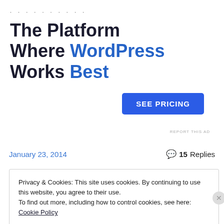·········
The Platform Where WordPress Works Best
[Figure (other): SEE PRICING button (blue CTA button)]
REPORT THIS AD
January 23, 2014
15 Replies
Privacy & Cookies: This site uses cookies. By continuing to use this website, you agree to their use. To find out more, including how to control cookies, see here: Cookie Policy
Close and accept